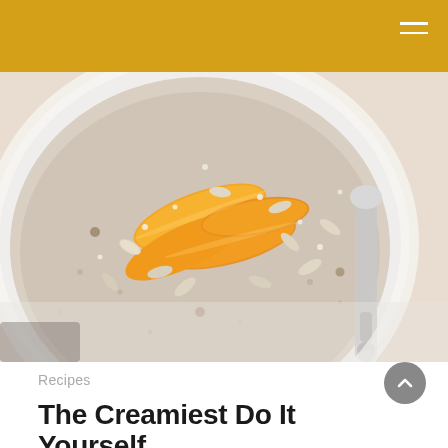[Figure (photo): Close-up overhead photo of a bowl of creamy oatmeal porridge topped with sliced peaches/nectarines, sunflower seeds, sesame seeds, and a silver vintage spoon resting on the right side of the bowl, placed on a white linen cloth.]
Recipes
The Creamiest Do It Yourself